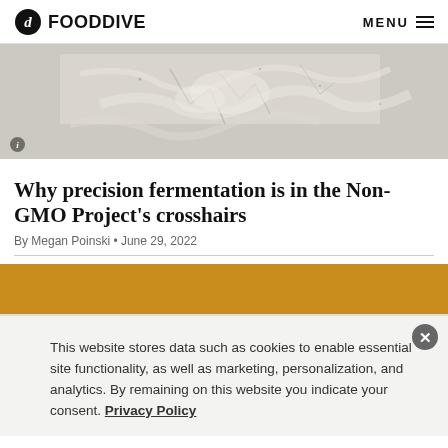FOOD DIVE  MENU
[Figure (photo): Close-up photo of a white cracked or crystalline surface, possibly salt, mineral, or fermentation substrate, on a light background.]
Why precision fermentation is in the Non-GMO Project's crosshairs
By Megan Poinski • June 29, 2022
[Figure (other): Orange/amber colored banner or advertisement block.]
This website stores data such as cookies to enable essential site functionality, as well as marketing, personalization, and analytics. By remaining on this website you indicate your consent. Privacy Policy